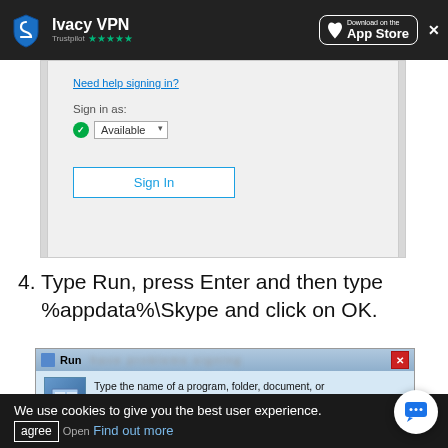Ivacy VPN | Trustpilot ★★★★★ | Download on the App Store
[Figure (screenshot): Skype sign-in dialog showing 'Need help signing in?' link, 'Sign in as:' label with a green Available dropdown, and a Sign In button]
4. Type Run, press Enter and then type %appdata%\Skype and click on OK.
[Figure (screenshot): Windows Run dialog box with blurred background text, showing icon and text: 'Type the name of a program, folder, document, or Internet resource, and Windows will open it for you.']
We use cookies to give you the best user experience. agree | Find out more